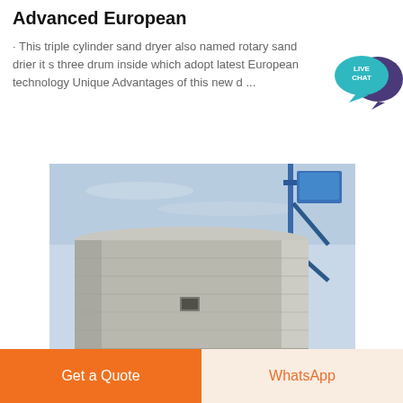Advanced European
· This triple cylinder sand dryer also named rotary sand drier it s three drum inside which adopt latest European technology Unique Advantages of this new d …
[Figure (photo): Photograph of a large cylindrical concrete silo/tank structure outdoors with a blue sky background and blue metal equipment visible at the top right]
Get a Quote
WhatsApp